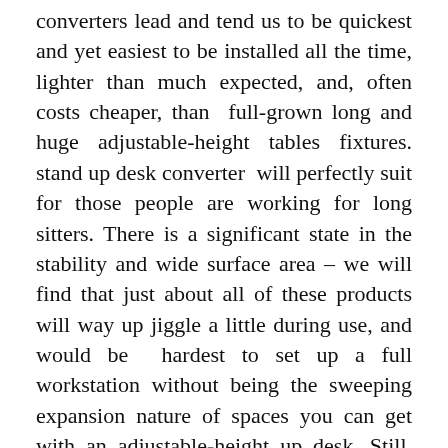converters lead and tend us to be quickest and yet easiest to be installed all the time, lighter than much expected, and, often costs cheaper, than full-grown long and huge adjustable-height tables fixtures. stand up desk converter will perfectly suit for those people are working for long sitters. There is a significant state in the stability and wide surface area – we will find that just about all of these products will way up jiggle a little during use, and would be hardest to set up a full workstation without being the sweeping expansion nature of spaces you can get with an adjustable-height up desk. Still, being there's no much denying of that a lot of standers may or will definitely depend or find these type of converters to be an much